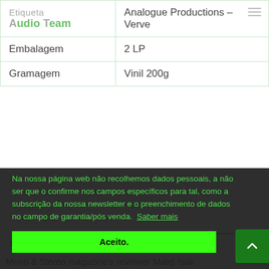|  |  |
| --- | --- |
| Etiqueta Audio Team | Analogue Productions – Verve |
| Embalagem | 2 LP |
| Gramagem | Vinil 200g |
Na nossa página web não recolhemos dados pessoais, a não ser que o confirme nos campos específicos para tal, como a subscrição da nossa newsletter e o preenchimento de dados no campo de garantia/pós venda.  Saber mais
Aceito.
Mastered by George Marino at Sterling Soun...
Mono & Stereo magazine's reviewer Matej Isak...